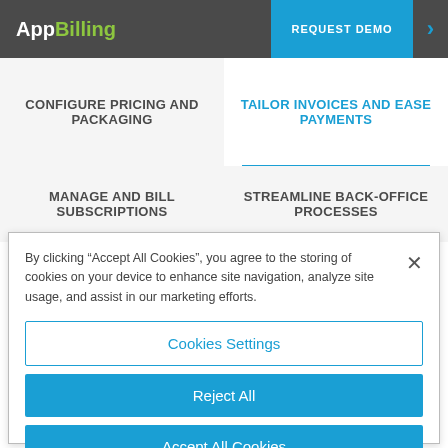AppBilling | REQUEST DEMO
CONFIGURE PRICING AND PACKAGING
TAILOR INVOICES AND EASE PAYMENTS
MANAGE AND BILL SUBSCRIPTIONS
STREAMLINE BACK-OFFICE PROCESSES
By clicking “Accept All Cookies”, you agree to the storing of cookies on your device to enhance site navigation, analyze site usage, and assist in our marketing efforts.
Cookies Settings
Reject All
Accept All Cookies